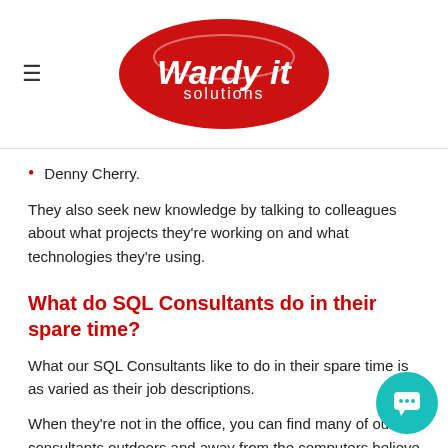Wardy IT Solutions
Denny Cherry.
They also seek new knowledge by talking to colleagues about what projects they're working on and what technologies they're using.
What do SQL Consultants do in their spare time?
What our SQL Consultants like to do in their spare time is as varied as their job descriptions.
When they're not in the office, you can find many of our consultants outdoors and away from the computers believe it or not. Hadyn Dawson can often be found in his boat "trying to convince the fish to climb aboard." Alex Ba... also a keen fisherman and camper, as is David Alzamen... keen on hiking and skiing. Nathan Parker, Konrad...